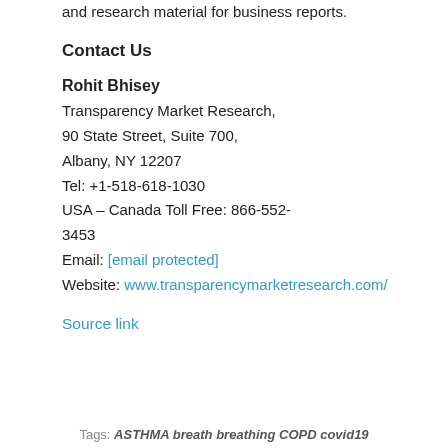and research material for business reports.
Contact Us
Rohit Bhisey
Transparency Market Research,
90 State Street, Suite 700,
Albany, NY 12207
Tel: +1-518-618-1030
USA – Canada Toll Free: 866-552-3453
Email: [email protected]
Website: www.transparencymarketresearch.com/
Source link
Tags: ASTHMA breath breathing COPD covid19